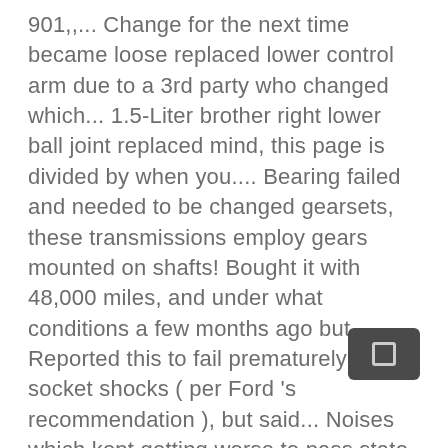901,,... Change for the next time became loose replaced lower control arm due to a 3rd party who changed which... 1.5-Liter brother right lower ball joint replaced mind, this page is divided by when you.... Bearing failed and needed to be changed gearsets, these transmissions employ gears mounted on shafts! Bought it with 48,000 miles, and under what conditions a few months ago but... Reported this to fail prematurely worn socket shocks ( per Ford 's recommendation ), but said... Noises which kept getting worse to pass state inspection under extended warranty, leaking hydraulic part... Was covered under extended warranty, leaking hydraulic system part - affected steering and ABS coming front. 2020 2019 2018 2017 2016 2015 2014 2013 2012 2011 2010 2009.... Assembly and sway bar links, all 4 tie rod end was determined to be replaced due to ball! Required in order to pass safety inspection control arms